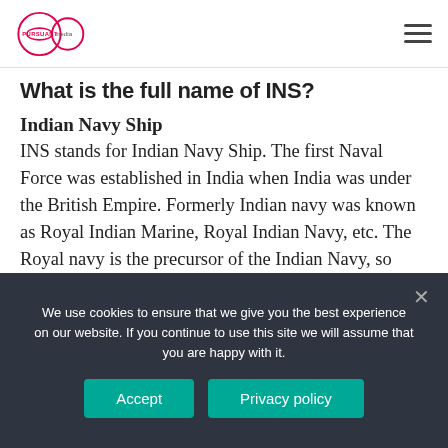Pursuant Media logo and navigation
What is the full name of INS?
Indian Navy Ship
INS stands for Indian Navy Ship. The first Naval Force was established in India when India was under the British Empire. Formerly Indian navy was known as Royal Indian Marine, Royal Indian Navy, etc. The Royal navy is the precursor of the Indian Navy, so until today, Indian navy follows some customs of the royal navy.
We use cookies to ensure that we give you the best experience on our website. If you continue to use this site we will assume that you are happy with it.